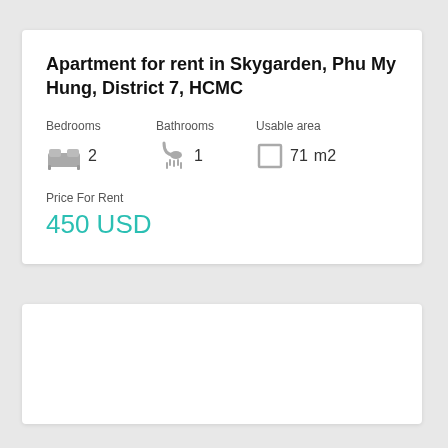Apartment for rent in Skygarden, Phu My Hung, District 7, HCMC
Bedrooms  Bathrooms  Usable area
2  1  71 m2
Price For Rent
450 USD